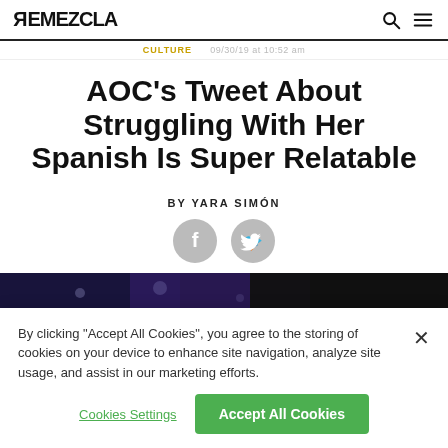REMEZCLA
CULTURE  09/30/19 at 10:52 am
AOC's Tweet About Struggling With Her Spanish Is Super Relatable
BY YARA SIMÓN
[Figure (other): Social share icons: Facebook and Twitter circles in grey]
[Figure (photo): Dark blue/purple image strip, partially visible]
By clicking "Accept All Cookies", you agree to the storing of cookies on your device to enhance site navigation, analyze site usage, and assist in our marketing efforts.
Cookies Settings   Accept All Cookies